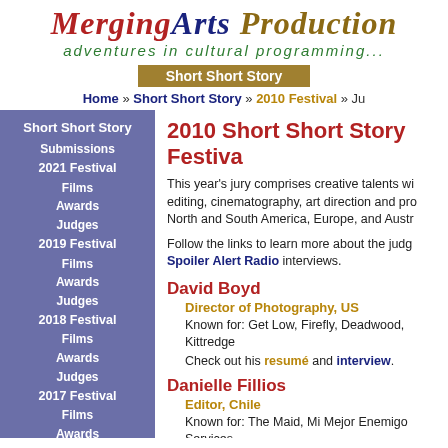MergingArts Productions — adventures in cultural programming...
Short Short Story
Home » Short Short Story » 2010 Festival » Ju...
2010 Short Short Story Festiva...
This year's jury comprises creative talents wi... editing, cinematography, art direction and pro... North and South America, Europe, and Austr...
Follow the links to learn more about the judg... Spoiler Alert Radio interviews.
David Boyd
Director of Photography, US
Known for: Get Low, Firefly, Deadwood, ...Kittredge
Check out his resumé and interview.
Danielle Fillios
Editor, Chile
Known for: The Maid, Mi Mejor Enemigo... Services...